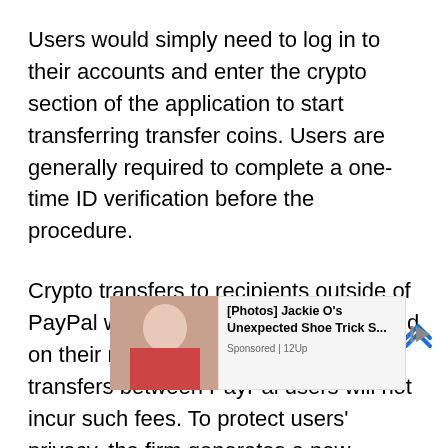Users would simply need to log in to their accounts and enter the crypto section of the application to start transferring transfer coins. Users are generally required to complete a one-time ID verification before the procedure.
Crypto transfers to recipients outside of PayPal would incur a network fee based on their respective blockchains, but transfers between PayPal users will not incur such fees. To protect users' privacy, the firm generates a new recipient address for each transaction into one's PayPal account. PayPal will also not
[Figure (photo): Advertisement overlay with photo of a woman and text '[Photos] Jackie O's Unexpected Shoe Trick S...' sponsored by 12Up]